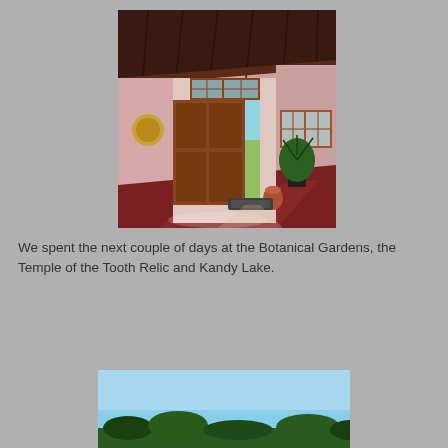[Figure (photo): Interior of a room with dark wooden ceiling, pink walls, open wooden door leading outside to a garden, a potted plant on the right, a decorative round object on the left wall, and a red floor with a mat.]
We spent the next couple of days at the Botanical Gardens, the Temple of the Tooth Relic and Kandy Lake.
[Figure (photo): Partial view of a photo showing a blue sky at the top and some trees or vegetation at the bottom.]